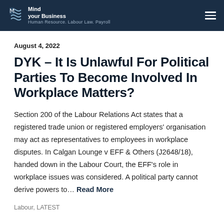Mind your Business
August 4, 2022
DYK – It Is Unlawful For Political Parties To Become Involved In Workplace Matters?
Section 200 of the Labour Relations Act states that a registered trade union or registered employers' organisation may act as representatives to employees in workplace disputes. In Calgan Lounge v EFF & Others (J2648/18), handed down in the Labour Court, the EFF's role in workplace issues was considered. A political party cannot derive powers to… Read More
Labour, LATEST